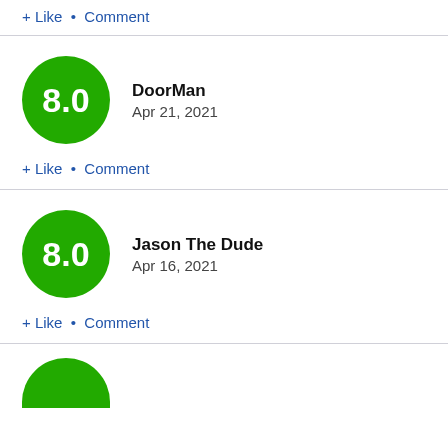+ Like • Comment
[Figure (other): Green circle with score 8.0]
DoorMan
Apr 21, 2021
+ Like • Comment
[Figure (other): Green circle with score 8.0]
Jason The Dude
Apr 16, 2021
+ Like • Comment
[Figure (other): Partially visible green circle at bottom]